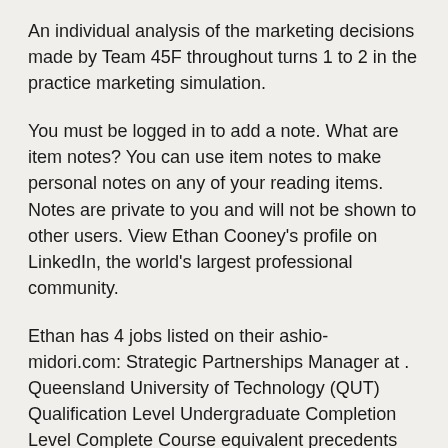An individual analysis of the marketing decisions made by Team 45F throughout turns 1 to 2 in the practice marketing simulation.
You must be logged in to add a note. What are item notes? You can use item notes to make personal notes on any of your reading items. Notes are private to you and will not be shown to other users. View Ethan Cooney's profile on LinkedIn, the world's largest professional community.
Ethan has 4 jobs listed on their ashio-midori.com: Strategic Partnerships Manager at . Queensland University of Technology (QUT) Qualification Level Undergraduate Completion Level Complete Course equivalent precedents The following precedents may be used as a guide only for requests for credit from January AFE Management Accounting = AYB Management